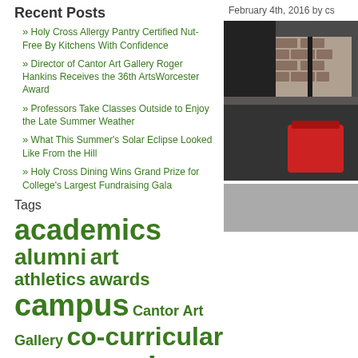Recent Posts
» Holy Cross Allergy Pantry Certified Nut-Free By Kitchens With Confidence
» Director of Cantor Art Gallery Roger Hankins Receives the 36th ArtsWorcester Award
» Professors Take Classes Outside to Enjoy the Late Summer Weather
» What This Summer's Solar Eclipse Looked Like From the Hill
» Holy Cross Dining Wins Grand Prize for College's Largest Fundraising Gala
Tags
academics alumni art athletics awards campus Cantor Art Gallery co-curricular community
February 4th, 2016 by cs
[Figure (photo): Interior of a vehicle showing rear seat area with a red backpack/bag, viewed through what appears to be a car window with brick wall visible outside]
[Figure (photo): Partial view of another photo at bottom right]